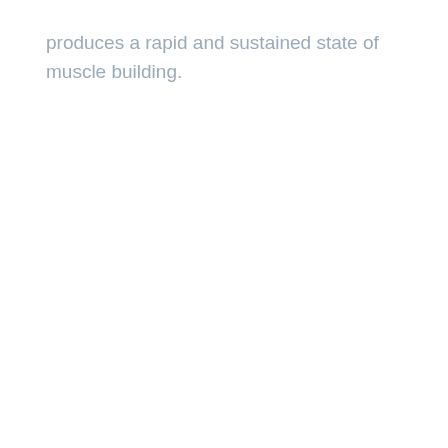produces a rapid and sustained state of muscle building.